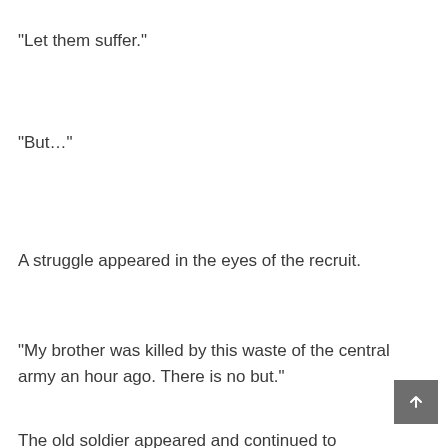“Let them suffer.”
“But…”
A struggle appeared in the eyes of the recruit.
“My brother was killed by this waste of the central army an hour ago. There is no but.”
The old soldier appeared and continued to appreciate the